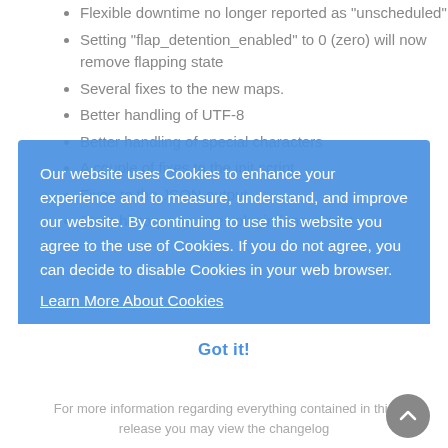Flexible downtime no longer reported as "unscheduled"
Setting "flap_detention_enabled" to 0 (zero) will now remove flapping state
Several fixes to the new maps.
Better handling of UTF-8
Better handling of special characters
A couple of fixes to the init script
Fixes to the JSON output
State history now uses plugin long output
Our website uses Cookies to enhance your experience and to measure, understand, and improve our website. By continuing to use this website you agree to the use of Cookies. If you do not agree, you can decide to disable Cookies in your web browser.
Learn More About Cookies
Got it!
For more information regarding everything contained in this release you may view the changelog